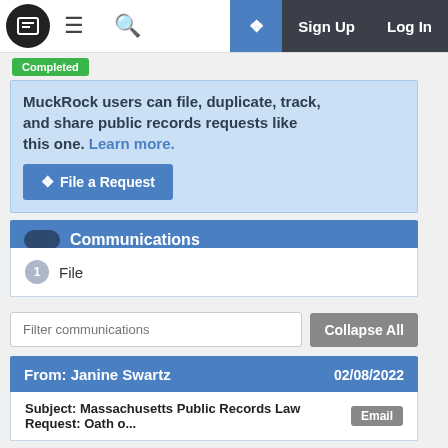MuckRock navigation bar with logo, hamburger menu, search, sign up and log in buttons
Completed
MuckRock users can file, duplicate, track, and share public records requests like this one. Learn more.
File a Request
Communications
1 File
Filter communications
Collapse All
From: Janine Swartz  02/08/2022
Subject: Massachusetts Public Records Law Request: Oath o...  Email